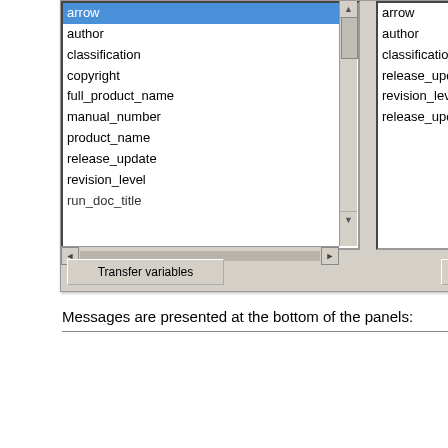[Figure (screenshot): A software dialog screenshot showing two listboxes side by side. The left listbox has items: arrow (selected/highlighted in blue), author, classification, copyright, full_product_name, manual_number, product_name, release_update, revision_level, run_doc_title (partially visible), with scrollbars. The right listbox shows: arrow, author, classification, release_update, revision_level, release_update. A 'Transfer variables' button appears at the bottom left of the dialog.]
Messages are presented at the bottom of the panels: